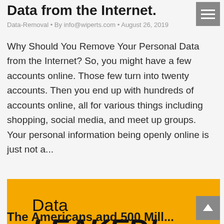Data from the Internet.
Data-Removal · By info@wiperts.com · August 26, 2019
Why Should You Remove Your Personal Data from the Internet? So, you might have a few accounts online. Those few turn into twenty accounts. Then you end up with hundreds of accounts online, all for various things including shopping, social media, and meet up groups. Your personal information being openly online is just not a...
[Figure (infographic): Yellow banner with text 'Data LEAKED!' in bold black lettering on a golden-yellow background]
The Americans and 500 Mill...